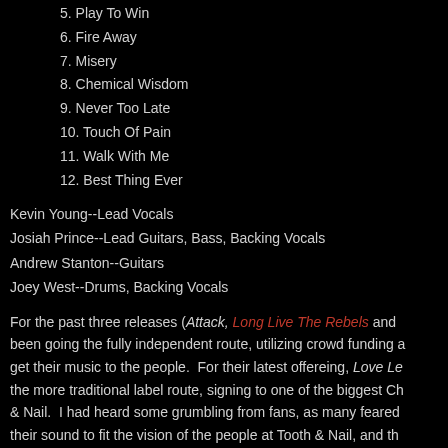5. Play To Win
6. Fire Away
7. Misery
8. Chemical Wisdom
9. Never Too Late
10. Touch Of Pain
11. Walk With Me
12. Best Thing Ever
Kevin Young--Lead Vocals
Josiah Prince--Lead Guitars, Bass, Backing Vocals
Andrew Stanton--Guitars
Joey West--Drums, Backing Vocals
For the past three releases (Attack, Long Live The Rebels and ... been going the fully independent route, utilizing crowd funding a... get their music to the people.  For their latest offereing, Love Le... the more traditional label route, signing to one of the biggest Ch... & Nail.  I had heard some grumbling from fans, as many feared ... their sound to fit the vision of the people at Tooth & Nail, and th... "Cuff The Criminal" and "Reanimate" probably did little to allay a... to tell you that those fears are very quickly laid to rest.  If anythi... and heavier than they have in some time.  Love Letter Kill Shot ... radio friendly hard rock of Attack and...  Rebels, while incorpor...